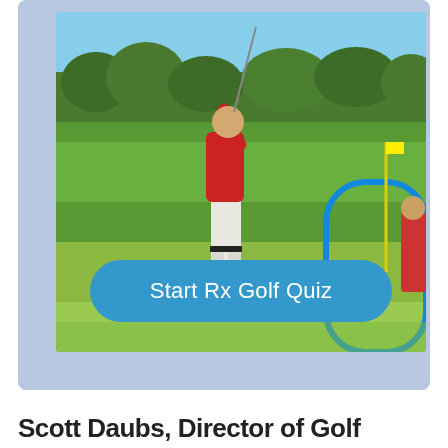[Figure (photo): A golfer wearing a red shirt and white pants is shown mid-swing on a golf course fairway with green grass and trees in the background. A blue rounded rectangle overlay is visible on the right side of the image. A blue pill-shaped button with the text 'Start Rx Golf Quiz' overlays the lower center of the image.]
Scott Daubs, Director of Golf...